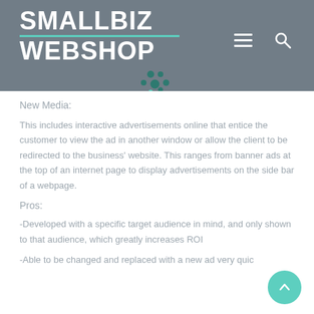SMALLBIZ WEBSHOP
New Media:
This includes interactive advertisements online that entice the customer to view the ad in another window or allow the client to be redirected to the business' website. This ranges from banner ads at the top of an internet page to display advertisements on the side bar of a webpage.
Pros:
-Developed with a specific target audience in mind, and only shown to that audience, which greatly increases ROI
-Able to be changed and replaced with a new ad very quic…